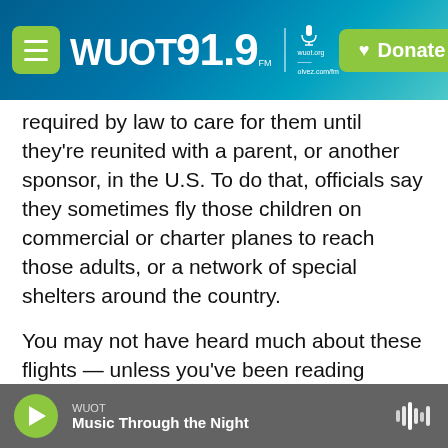WUOT 91.9 FM | wuot.org | Donate
required by law to care for them until they're reunited with a parent, or another sponsor, in the U.S. To do that, officials say they sometimes fly those children on commercial or charter planes to reach those adults, or a network of special shelters around the country.
You may not have heard much about these flights — unless you've been reading conservative media and watching Fox News, where these so-called "ghost flights" filled with "underage migrants" have been getting plenty of attention.
Conservative media outlets devoted multiple
WUOT — Music Through the Night